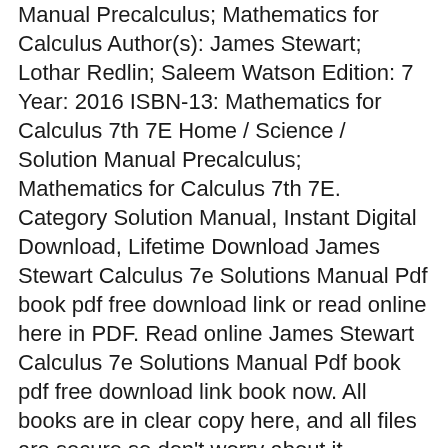Manual Precalculus; Mathematics for Calculus Author(s): James Stewart; Lothar Redlin; Saleem Watson Edition: 7 Year: 2016 ISBN-13: Mathematics for Calculus 7th 7E Home / Science / Solution Manual Precalculus; Mathematics for Calculus 7th 7E. Category Solution Manual, Instant Digital Download, Lifetime Download James Stewart Calculus 7e Solutions Manual Pdf book pdf free download link or read online here in PDF. Read online James Stewart Calculus 7e Solutions Manual Pdf book pdf free download link book now. All books are in clear copy here, and all files are secure so don't worry about it.